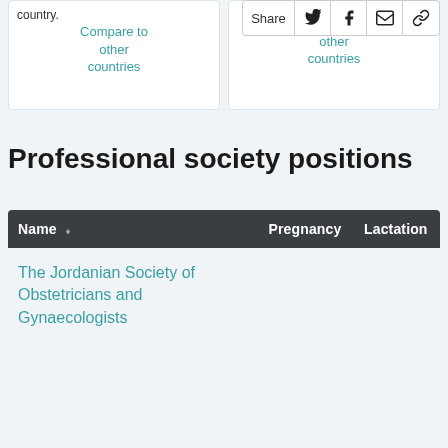country.
Compare to other countries
Compare to other countries
Professional society positions
| Name | Pregnancy | Lactation |
| --- | --- | --- |
| The Jordanian Society of Obstetricians and Gynaecologists |  |  |